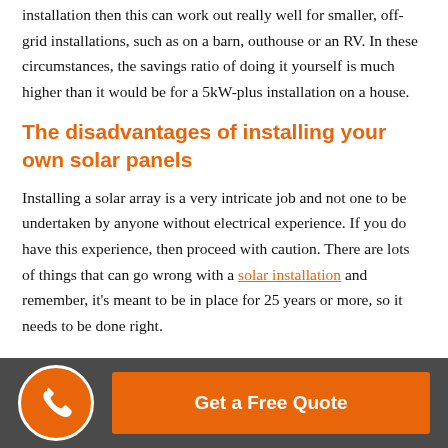installation then this can work out really well for smaller, off-grid installations, such as on a barn, outhouse or an RV. In these circumstances, the savings ratio of doing it yourself is much higher than it would be for a 5kW-plus installation on a house.
The disadvantages of installing your own solar panels
Installing a solar array is a very intricate job and not one to be undertaken by anyone without electrical experience. If you do have this experience, then proceed with caution. There are lots of things that can go wrong with a solar installation and remember, it's meant to be in place for 25 years or more, so it needs to be done right.
[Figure (infographic): Dark grey footer bar with an orange phone icon circle on the left and an orange 'Get a Free Quote' button on the right]